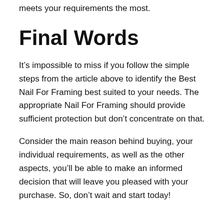meets your requirements the most.
Final Words
It’s impossible to miss if you follow the simple steps from the article above to identify the Best Nail For Framing best suited to your needs. The appropriate Nail For Framing should provide sufficient protection but don’t concentrate on that.
Consider the main reason behind buying, your individual requirements, as well as the other aspects, you’ll be able to make an informed decision that will leave you pleased with your purchase. So, don’t wait and start today!